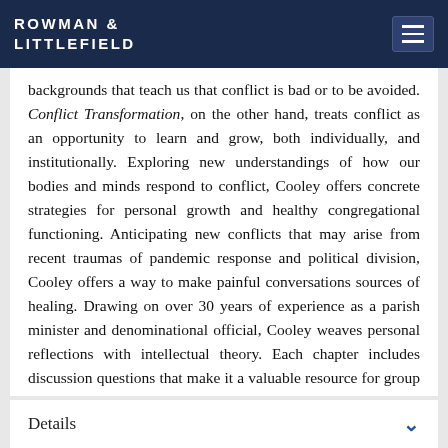ROWMAN & LITTLEFIELD
backgrounds that teach us that conflict is bad or to be avoided. Conflict Transformation, on the other hand, treats conflict as an opportunity to learn and grow, both individually, and institutionally. Exploring new understandings of how our bodies and minds respond to conflict, Cooley offers concrete strategies for personal growth and healthy congregational functioning. Anticipating new conflicts that may arise from recent traumas of pandemic response and political division, Cooley offers a way to make painful conversations sources of healing. Drawing on over 30 years of experience as a parish minister and denominational official, Cooley weaves personal reflections with intellectual theory. Each chapter includes discussion questions that make it a valuable resource for group conversation and learning.
Details